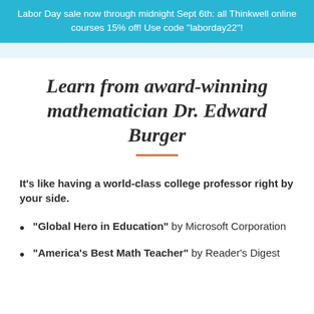Labor Day sale now through midnight Sept 6th: all Thinkwell online courses 15% off! Use code "laborday22"!
Learn from award-winning mathematician Dr. Edward Burger
It's like having a world-class college professor right by your side.
"Global Hero in Education" by Microsoft Corporation
"America's Best Math Teacher" by Reader's Digest